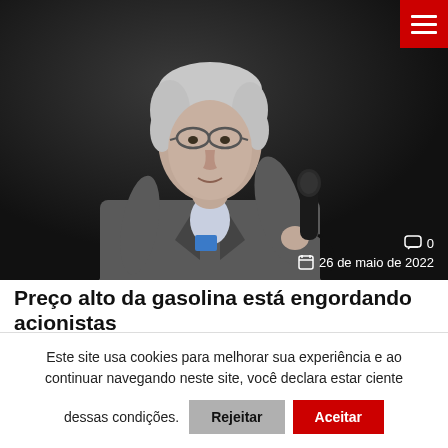[Figure (photo): An elderly man with white hair and glasses wearing a grey suit jacket, holding a black microphone, speaking at an event against a dark background.]
💬 0  📅 26 de maio de 2022
Preço alto da gasolina está engordando acionistas
Este site usa cookies para melhorar sua experiência e ao continuar navegando neste site, você declara estar ciente dessas condições.